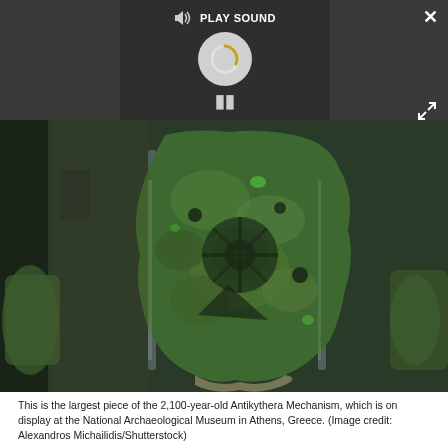[Figure (screenshot): Media player overlay on dark background with PLAY SOUND button, speaker icon, loading spinner circle, and pause button. Close X button top right, expand arrows bottom right.]
[Figure (photo): Close-up photograph of the Antikythera Mechanism, the largest piece, displayed on a transparent acrylic stand. The artifact is heavily corroded and green-colored, showing intricate gear and mechanical details. National Archaeological Museum, Athens, Greece.]
This is the largest piece of the 2,100-year-old Antikythera Mechanism, which is on display at the National Archaeological Museum in Athens, Greece. (Image credit: Alexandros Michailidis/Shutterstock)